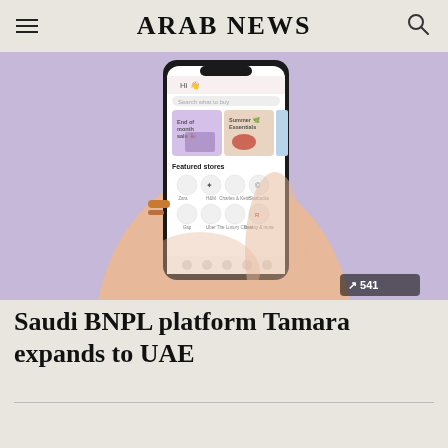ARAB NEWS
[Figure (photo): A hand holding a smartphone displaying the Tamara shopping app interface with featured stores and product categories on a lavender background. A small chart icon with '541' is overlaid in the bottom right corner of the image.]
Saudi BNPL platform Tamara expands to UAE